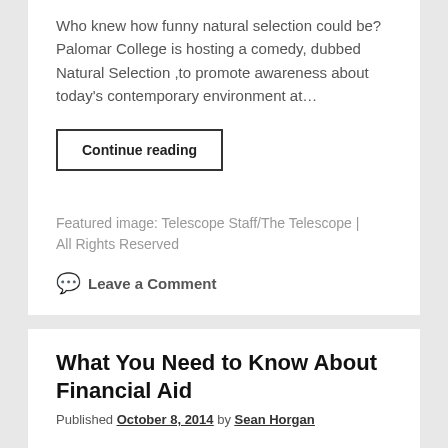Who knew how funny natural selection could be? Palomar College is hosting a comedy, dubbed Natural Selection ,to promote awareness about today's contemporary environment at…
Continue reading
Featured image: Telescope Staff/The Telescope | All Rights Reserved
Leave a Comment
What You Need to Know About Financial Aid
Published October 8, 2014 by Sean Horgan
Paying for books, tuition, classes and other